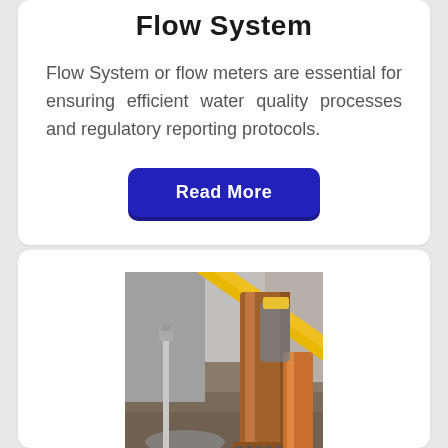Flow System
Flow System or flow meters are essential for ensuring efficient water quality processes and regulatory reporting protocols.
Read More
[Figure (photo): Industrial photo showing pipes — a brown/copper colored pipe and yellow scaffold bar alongside a metal stake driven into wet ground, with industrial equipment in the background]